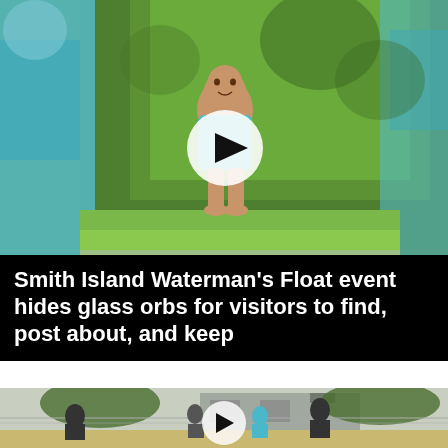[Figure (photo): A young child in a teal/blue t-shirt standing outdoors among green foliage, with a blurred adult figure in teal on the left. A circular video play button overlay is visible in the center.]
Smith Island Waterman's Float event hides glass orbs for visitors to find, post about, and keep
[Figure (photo): People playing on a dirt/sand sports field (possibly softball or baseball) behind a chain-link fence, with a gray house and trees in the background. A circular video play button overlay is visible in the center.]